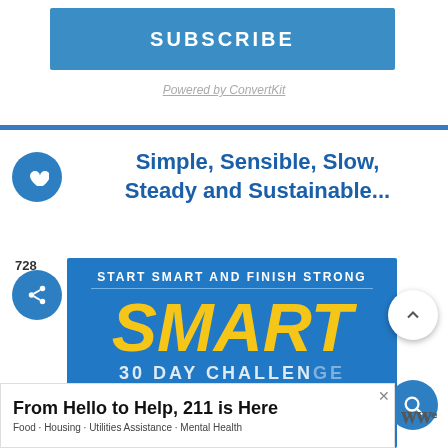[Figure (screenshot): Blue SUBSCRIBE button with 'Powered by ConvertKit' link below, inside a white card with blue bottom border]
Simple, Sensible, Slow, Steady and Sustainable...
728
[Figure (screenshot): Blue banner image with 'START SMART AND FINISH STRONG' text and 'SMART' in large yellow letters, partial view of '30 DAY CHALLENGE']
WHAT'S NEXT → Skinny Soups Recipes with...
[Figure (screenshot): Advertisement: 'From Hello to Help, 211 is Here' with subtitle 'Food · Housing · Utilities Assistance · Mental Health']